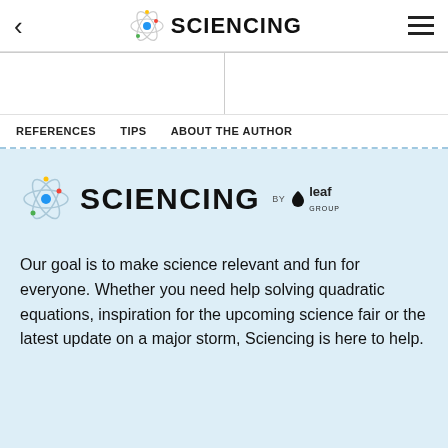SCIENCING
REFERENCES   TIPS   ABOUT THE AUTHOR
[Figure (logo): Sciencing by Leaf Group logo in light blue promotional area]
Our goal is to make science relevant and fun for everyone. Whether you need help solving quadratic equations, inspiration for the upcoming science fair or the latest update on a major storm, Sciencing is here to help.